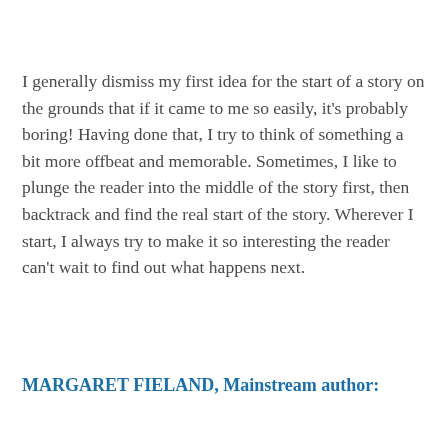I generally dismiss my first idea for the start of a story on the grounds that if it came to me so easily, it's probably boring! Having done that, I try to think of something a bit more offbeat and memorable. Sometimes, I like to plunge the reader into the middle of the story first, then backtrack and find the real start of the story. Wherever I start, I always try to make it so interesting the reader can't wait to find out what happens next.
MARGARET FIELAND, Mainstream author: